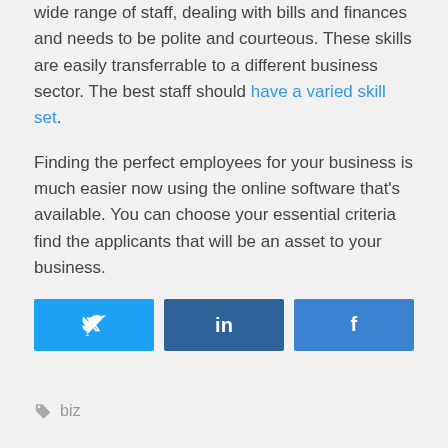wide range of staff, dealing with bills and finances and needs to be polite and courteous. These skills are easily transferrable to a different business sector. The best staff should have a varied skill set.
Finding the perfect employees for your business is much easier now using the online software that's available. You can choose your essential criteria find the applicants that will be an asset to your business.
[Figure (other): Social share buttons: Twitter, LinkedIn, Facebook]
biz